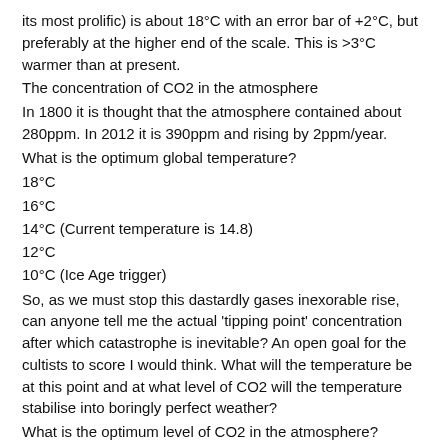its most prolific) is about 18°C with an error bar of +2°C, but preferably at the higher end of the scale. This is >3°C warmer than at present.
The concentration of CO2 in the atmosphere
In 1800 it is thought that the atmosphere contained about 280ppm. In 2012 it is 390ppm and rising by 2ppm/year.
What is the optimum global temperature?
18°C
16°C
14°C (Current temperature is 14.8)
12°C
10°C (Ice Age trigger)
So, as we must stop this dastardly gases inexorable rise, can anyone tell me the actual 'tipping point' concentration after which catastrophe is inevitable? An open goal for the cultists to score I would think. What will the temperature be at this point and at what level of CO2 will the temperature stabilise into boringly perfect weather?
What is the optimum level of CO2 in the atmosphere?
000ppm